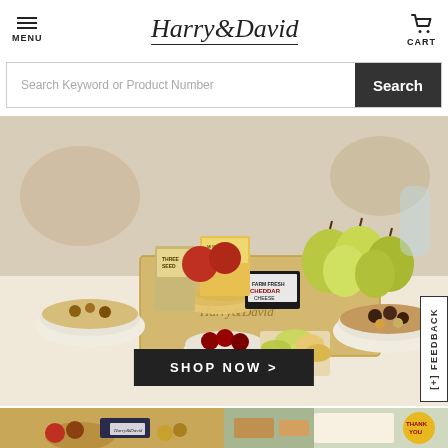Harry & David — MENU | CART
Search Keyword or Product Number
[Figure (photo): Harry & David gift basket with pears, crackers, cheese, nuts, chocolate, and cherries on a table]
SHOP NOW >
[Figure (photo): Harry & David gift basket with fruit and products, bottom left]
[Figure (photo): Harry & David gift set with Thank You tag, bottom right]